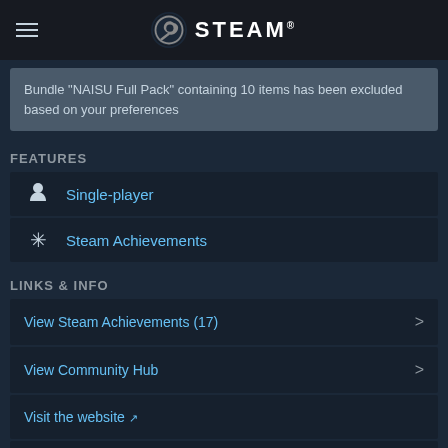STEAM
Bundle "NAISU Full Pack" containing 10 items has been excluded based on your preferences
FEATURES
Single-player
Steam Achievements
LINKS & INFO
View Steam Achievements (17)
View Community Hub
Visit the website
View update history